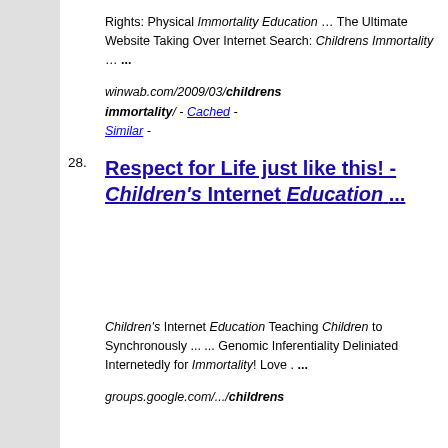Rights: Physical Immortality Education … The Ultimate Website Taking Over Internet Search: Childrens Immortality … ... winwab.com/2009/03/childrens-immortality/ - Cached - Similar -
28. Respect for Life just like this! - Children's Internet Education ...
Children's Internet Education Teaching Children to Synchronously ... ... Genomic Inferentiality Deliniated Internetedly for Immortality! Love . ... groups.google.com/.../childrens-for-life-just-like-this - Cached